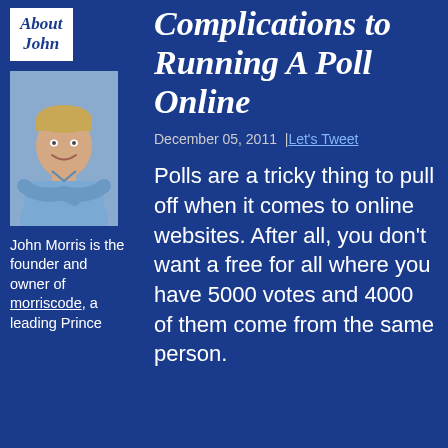[Figure (photo): Logo box with 'About John' text in cursive italic style on white background with blue border]
[Figure (photo): Profile photo of a young man with short blonde hair wearing a light blue button-up shirt, arms crossed, smiling]
John Morris is the founder and owner of morriscode, a leading Prince
Complications to Running A Poll Online
December 05, 2011 | Let's Tweet
Polls are a tricky thing to pull off when it comes to online websites. After all, you don't want a free for all where you have 5000 votes and 4000 of them come from the same person.